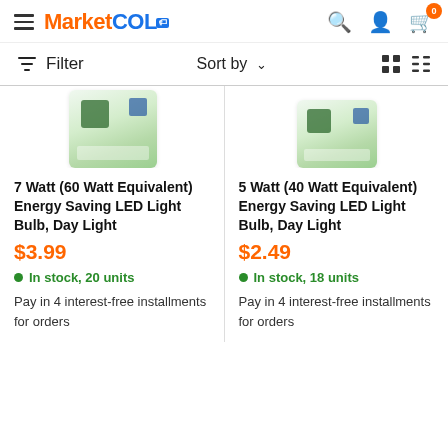MarketCOL — navigation header with hamburger menu, logo, search, account, and cart icons
Filter   Sort by ▾   [grid view] [list view]
[Figure (photo): Product image of 7 Watt LED light bulb box (partially visible, cropped at top)]
7 Watt (60 Watt Equivalent) Energy Saving LED Light Bulb, Day Light
$3.99
In stock, 20 units
Pay in 4 interest-free installments for orders
[Figure (photo): Product image of 5 Watt LED light bulb box (partially visible, cropped at top)]
5 Watt (40 Watt Equivalent) Energy Saving LED Light Bulb, Day Light
$2.49
In stock, 18 units
Pay in 4 interest-free installments for orders